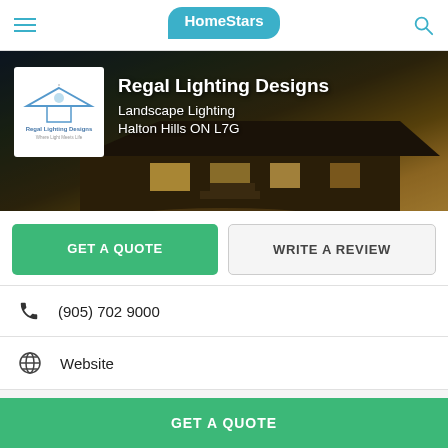HomeStars
[Figure (screenshot): Hero banner image of an illuminated house at night with Regal Lighting Designs company logo box overlaid on left, and company name, category, and location text on the right.]
Regal Lighting Designs
Landscape Lighting
Halton Hills ON L7G
GET A QUOTE
WRITE A REVIEW
(905) 702 9000
Website
HomeStars > Landscape Lighting > Regal Lighting Designs
GET A QUOTE